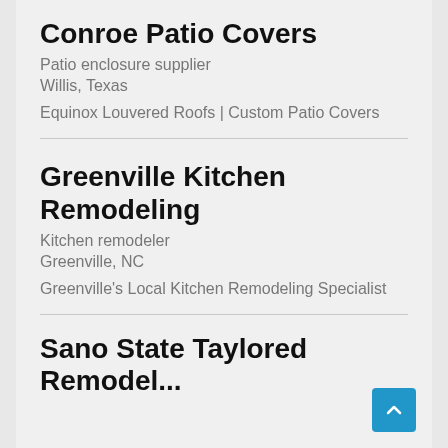Conroe Patio Covers
Patio enclosure supplier
Willis, Texas
Equinox Louvered Roofs | Custom Patio Covers
Greenville Kitchen Remodeling
Kitchen remodeler
Greenville, NC
Greenville's Local Kitchen Remodeling Specialist
Sano State Taylored
Remodel...